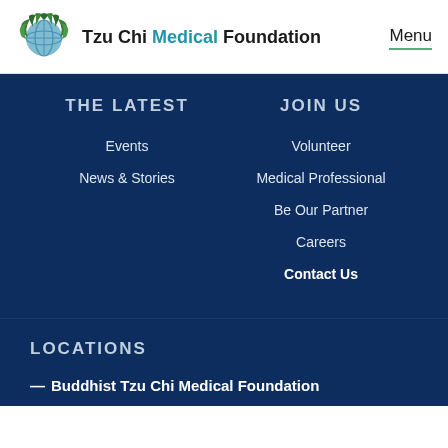Tzu Chi Medical Foundation | Menu
THE LATEST
Events
News & Stories
JOIN US
Volunteer
Medical Professional
Be Our Partner
Careers
Contact Us
LOCATIONS
— Buddhist Tzu Chi Medical Foundation